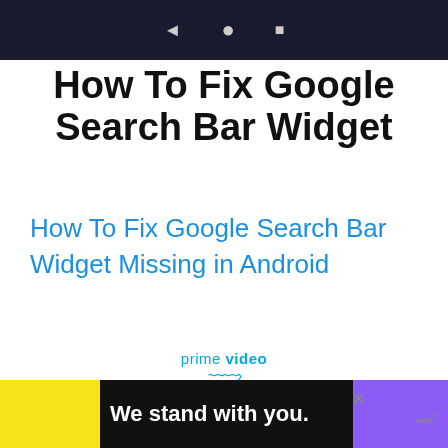[Figure (screenshot): Android navigation bar with back, home, and recent apps buttons on dark background]
How To Fix Google Search Bar Widget
How To Fix Google Search Bar Widget Missing in Android
[Figure (logo): Amazon Prime Video logo with cyan arrow smile, and promotional thumbnail for 'How To Fix Prime Video Not Working On Firestick']
[Figure (screenshot): Advertisement banner: 'We stand with you.' with yellow block and purple block on dark background, with close button and Wren logo]